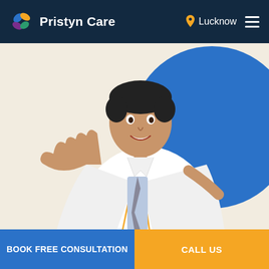Pristyn Care — Lucknow
[Figure (photo): A male doctor in a white coat with gold trim and grey tie, smiling and gesturing with an open palm, against a cream background with a large blue circle.]
BOOK FREE CONSULTATION
CALL US